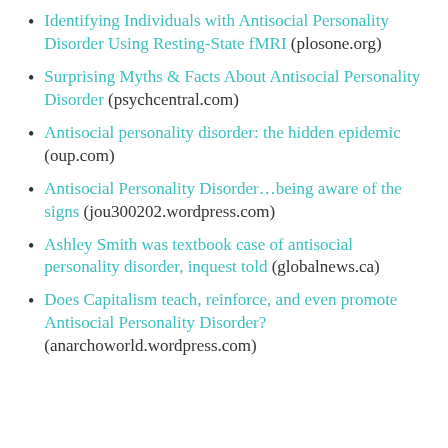Identifying Individuals with Antisocial Personality Disorder Using Resting-State fMRI (plosone.org)
Surprising Myths & Facts About Antisocial Personality Disorder (psychcentral.com)
Antisocial personality disorder: the hidden epidemic (oup.com)
Antisocial Personality Disorder…being aware of the signs (jou300202.wordpress.com)
Ashley Smith was textbook case of antisocial personality disorder, inquest told (globalnews.ca)
Does Capitalism teach, reinforce, and even promote Antisocial Personality Disorder? (anarchoworld.wordpress.com)